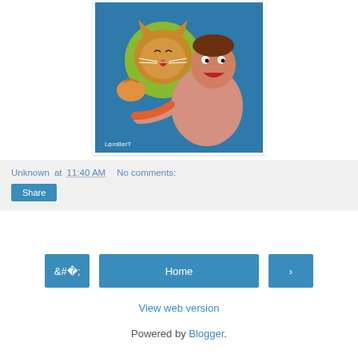[Figure (illustration): Painting by Lambert showing a laughing kitten and a shouting muscular man with a blue background and yellow-green circle, signed 'LAMBERT' at bottom left.]
Unknown at 11:40 AM   No comments:
Share
‹
Home
›
View web version
Powered by Blogger.